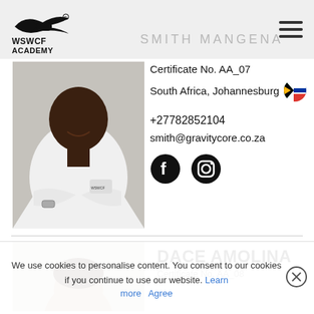[Figure (logo): WSWCF Academy logo with airplane/eagle graphic]
SMITH MANGENA
[Figure (photo): Photo of Smith Mangena, a muscular man in a white polo shirt with arms crossed, smiling]
Certificate No. AA_07
South Africa, Johannesburg
+27782852104
smith@gravitycore.co.za
[Figure (other): Facebook and Instagram social media icons]
[Figure (photo): Partial photo of Dace Amolina]
DACE AMOLINA
Certificate No. AA_08
We use cookies to personalise content. You consent to our cookies if you continue to use our website. Learn more Agree